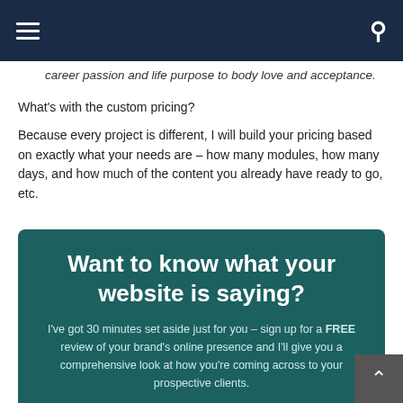Navigation bar with hamburger menu and search icon
career passion and life purpose to body love and acceptance.
What's with the custom pricing?
Because every project is different, I will build your pricing based on exactly what your needs are – how many modules, how many days, and how much of the content you already have ready to go, etc.
Want to know what your website is saying?
I've got 30 minutes set aside just for you – sign up for a FREE review of your brand's online presence and I'll give you a comprehensive look at how you're coming across to your prospective clients.